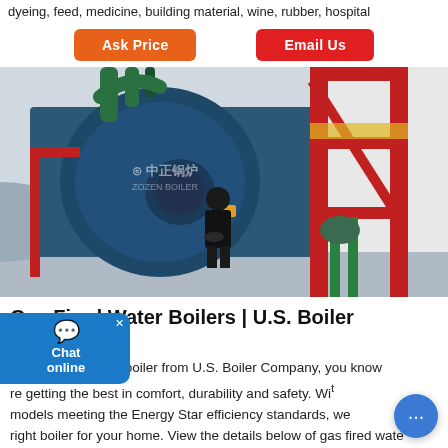dyeing, feed, medicine, building material, wine, rubber, hospital
Ask Price   Email Us
[Figure (photo): Industrial gas fired water boiler in a facility. A large blue cylindrical boiler body with red steel structural frame on the right side. Green pipes visible at top. A person in black jacket standing in front of the boiler. Chinese manufacturer logo (中正锅炉) visible on the boiler body.]
Gas Fired Water Boilers | U.S. Boiler Company
When you purchase a boiler from U.S. Boiler Company, you know you are getting the best in comfort, durability and safety. With models meeting the Energy Star efficiency standards, we right boiler for your home. View the details below of gas fired wate